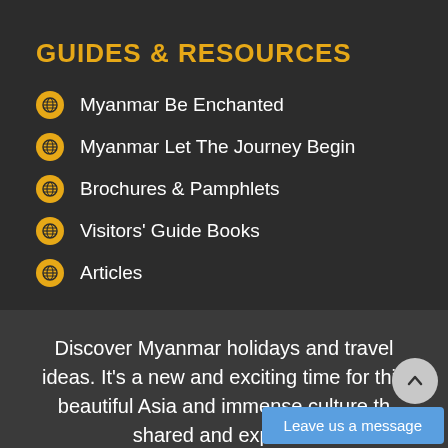GUIDES & RESOURCES
Myanmar Be Enchanted
Myanmar Let The Journey Begin
Brochures & Pamphlets
Visitors' Guide Books
Articles
Discover Myanmar holidays and travel ideas. It's a new and exciting time for this beautiful Asia and immense culture th shared and explored